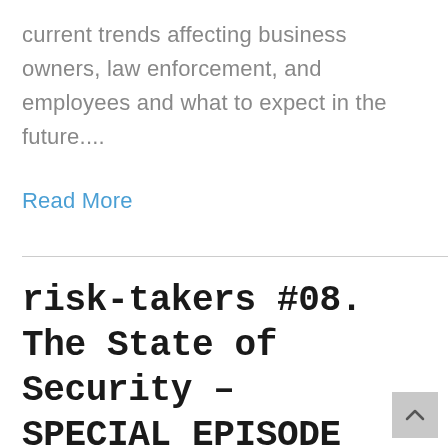current trends affecting business owners, law enforcement, and employees and what to expect in the future....
Read More
risk-takers #08. The State of Security – SPECIAL EPISODE